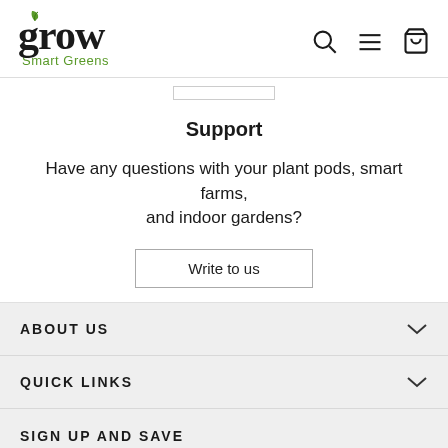grow Smart Greens
Support
Have any questions with your plant pods, smart farms, and indoor gardens?
Write to us
ABOUT US
QUICK LINKS
SIGN UP AND SAVE